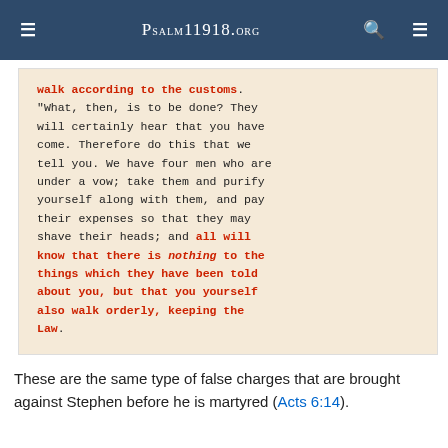≡  Psalm11918.org  🔍  ≡
walk according to the customs. "What, then, is to be done? They will certainly hear that you have come. Therefore do this that we tell you. We have four men who are under a vow; take them and purify yourself along with them, and pay their expenses so that they may shave their heads; and all will know that there is nothing to the things which they have been told about you, but that you yourself also walk orderly, keeping the Law.
These are the same type of false charges that are brought against Stephen before he is martyred (Acts 6:14).